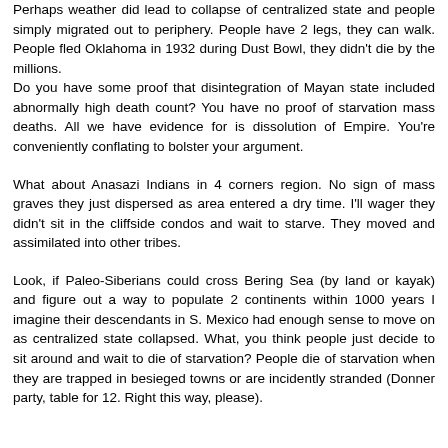Perhaps weather did lead to collapse of centralized state and people simply migrated out to periphery. People have 2 legs, they can walk. People fled Oklahoma in 1932 during Dust Bowl, they didn't die by the millions. Do you have some proof that disintegration of Mayan state included abnormally high death count? You have no proof of starvation mass deaths. All we have evidence for is dissolution of Empire. You're conveniently conflating to bolster your argument.
What about Anasazi Indians in 4 corners region. No sign of mass graves they just dispersed as area entered a dry time. I'll wager they didn't sit in the cliffside condos and wait to starve. They moved and assimilated into other tribes.
Look, if Paleo-Siberians could cross Bering Sea (by land or kayak) and figure out a way to populate 2 continents within 1000 years I imagine their descendants in S. Mexico had enough sense to move on as centralized state collapsed. What, you think people just decide to sit around and wait to die of starvation? People die of starvation when they are trapped in besieged towns or are incidently stranded (Donner party, table for 12. Right this way, please).